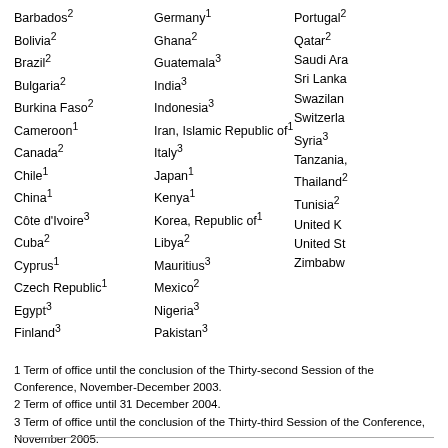Barbados²
Bolivia²
Brazil²
Bulgaria²
Burkina Faso²
Cameroon¹
Canada²
Chile¹
China¹
Côte d'Ivoire³
Cuba²
Cyprus¹
Czech Republic¹
Egypt³
Finland³
Germany¹
Ghana²
Guatemala³
India³
Indonesia³
Iran, Islamic Republic of¹
Italy³
Japan¹
Kenya¹
Korea, Republic of¹
Libya²
Mauritius³
Mexico²
Nigeria³
Pakistan³
Portugal²
Qatar²
Saudi Arabia
Sri Lanka
Swaziland
Switzerland
Syria³
Tanzania,
Thailand
Tunisia²
United K
United St
Zimbabwe
1 Term of office until the conclusion of the Thirty-second Session of the Conference, November-December 2003.
2 Term of office until 31 December 2004.
3 Term of office until the conclusion of the Thirty-third Session of the Conference, November 2005.